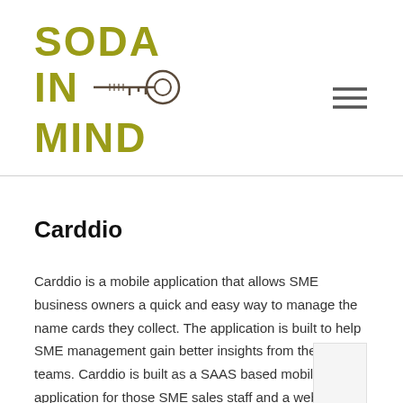[Figure (logo): Soda In Mind logo: bold olive/yellow-green text reading SODA / IN (with a key icon) / MIND, stacked vertically]
[Figure (other): Hamburger menu icon (three horizontal lines) in the top-right corner]
Carddio
Carddio is a mobile application that allows SME business owners a quick and easy way to manage the name cards they collect. The application is built to help SME management gain better insights from their sales teams. Carddio is built as a SAAS based mobile application for those SME sales staff and a web based